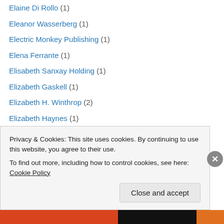Elaine Di Rollo (1)
Eleanor Wasserberg (1)
Electric Monkey Publishing (1)
Elena Ferrante (1)
Elisabeth Sanxay Holding (1)
Elizabeth Gaskell (1)
Elizabeth H. Winthrop (2)
Elizabeth Haynes (1)
Elizabeth McCracken (1)
Elizabeth Strout (1)
Elizabeth Taylor (1)
Ellen Feldman (4)
Ellen Wood (2)
Emily Bronte (5)
Privacy & Cookies: This site uses cookies. By continuing to use this website, you agree to their use.
To find out more, including how to control cookies, see here: Cookie Policy
Close and accept